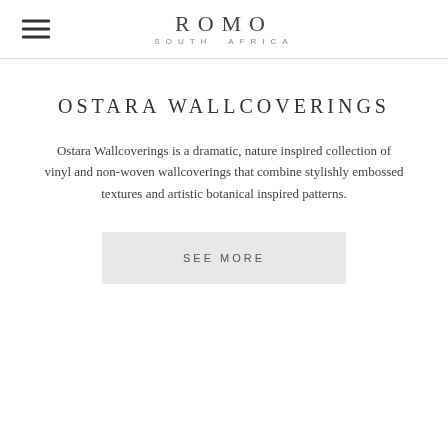ROMO SOUTH AFRICA
OSTARA WALLCOVERINGS
Ostara Wallcoverings is a dramatic, nature inspired collection of vinyl and non-woven wallcoverings that combine stylishly embossed textures and artistic botanical inspired patterns.
SEE MORE